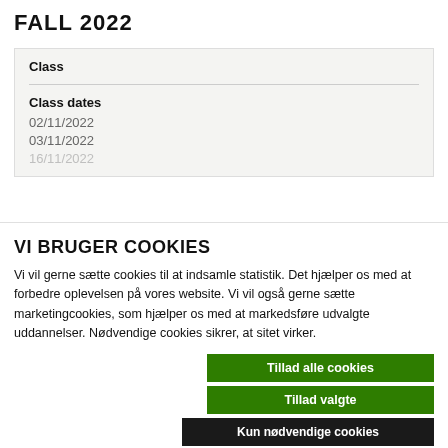FALL 2022
| Class |
| --- |
| Class dates | 02/11/2022 | 03/11/2022 |
VI BRUGER COOKIES
Vi vil gerne sætte cookies til at indsamle statistik. Det hjælper os med at forbedre oplevelsen på vores website. Vi vil også gerne sætte marketingcookies, som hjælper os med at markedsføre udvalgte uddannelser. Nødvendige cookies sikrer, at sitet virker.
Tillad alle cookies
Tillad valgte
Kun nødvendige cookies
Nødvendig  Præferencer  Statistik  Marketing  Vis detaljer